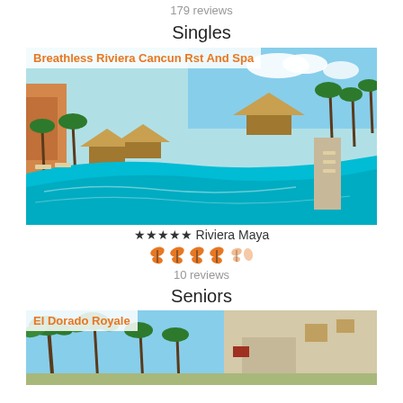179 reviews
Singles
[Figure (photo): Resort pool at Breathless Riviera Cancun Rst And Spa with turquoise water, thatched huts, palm trees]
★★★★★ Riviera Maya
[Figure (other): Orange butterfly rating icons (5 butterflies, last one partial)]
10 reviews
Seniors
[Figure (photo): El Dorado Royale resort with palm trees and archway building]